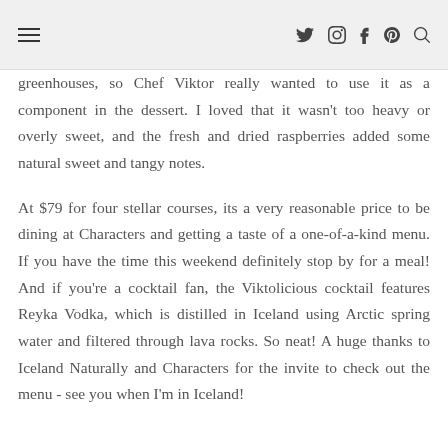≡  ✦ ⊞ f p 🔍
greenhouses, so Chef Viktor really wanted to use it as a component in the dessert. I loved that it wasn't too heavy or overly sweet, and the fresh and dried raspberries added some natural sweet and tangy notes.
At $79 for four stellar courses, its a very reasonable price to be dining at Characters and getting a taste of a one-of-a-kind menu. If you have the time this weekend definitely stop by for a meal! And if you're a cocktail fan, the Viktolicious cocktail features Reyka Vodka, which is distilled in Iceland using Arctic spring water and filtered through lava rocks. So neat! A huge thanks to Iceland Naturally and Characters for the invite to check out the menu - see you when I'm in Iceland!